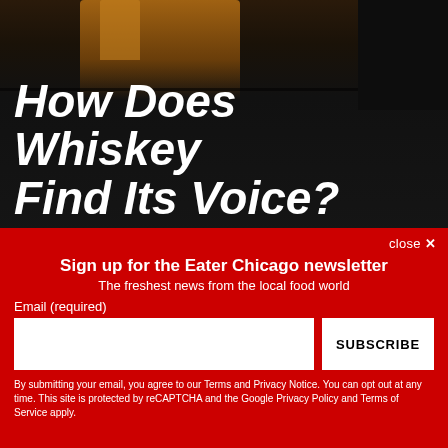[Figure (photo): Dark background image showing a whiskey bottle on a surface, with warm amber/golden lighting on the bottle area and dark surroundings. Headline text 'How Does Whiskey Find Its Voice?' in large bold white italic text overlaid on the dark background.]
How Does Whiskey Find Its Voice?
close ✕
Sign up for the Eater Chicago newsletter
The freshest news from the local food world
Email (required)
SUBSCRIBE
By submitting your email, you agree to our Terms and Privacy Notice. You can opt out at any time. This site is protected by reCAPTCHA and the Google Privacy Policy and Terms of Service apply.